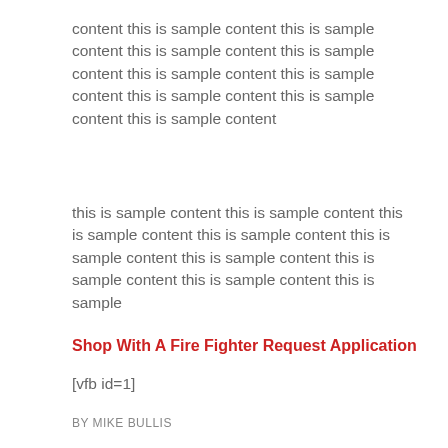content this is sample content this is sample content this is sample content this is sample content this is sample content this is sample content this is sample content this is sample content this is sample content
this is sample content this is sample content this is sample content this is sample content this is sample content this is sample content this is sample content this is sample content this is sample
Shop With A Fire Fighter Request Application
[vfb id=1]
BY MIKE BULLIS